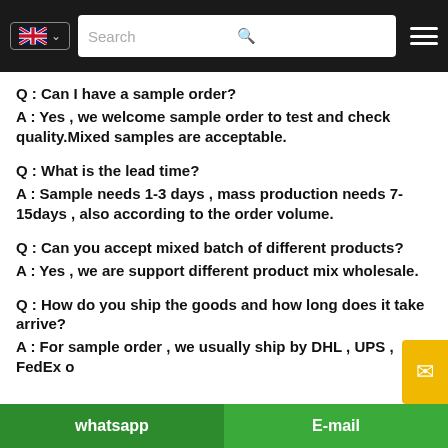Search [navigation bar with UK flag and hamburger menu]
Q : Can I have a sample order?
A : Yes , we welcome sample order to test and check quality.Mixed samples are acceptable.
Q : What is the lead time?
A : Sample needs 1-3 days , mass production needs 7-15days , also according to the order volume.
Q : Can you accept mixed batch of different products?
A : Yes , we are support different product mix wholesale.
Q : How do you ship the goods and how long does it take arrive?
A : For sample order , we usually ship by DHL , UPS , FedEx o
whatsapp   E-mail